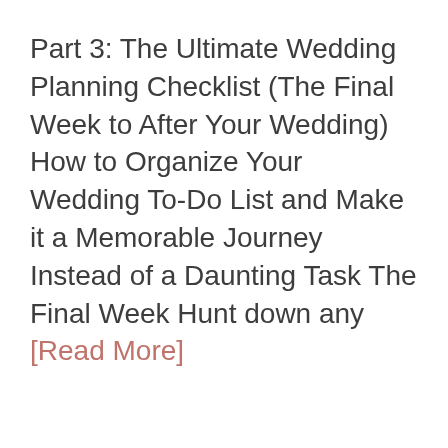Part 3: The Ultimate Wedding Planning Checklist (The Final Week to After Your Wedding) How to Organize Your Wedding To-Do List and Make it a Memorable Journey Instead of a Daunting Task The Final Week Hunt down any [Read More]